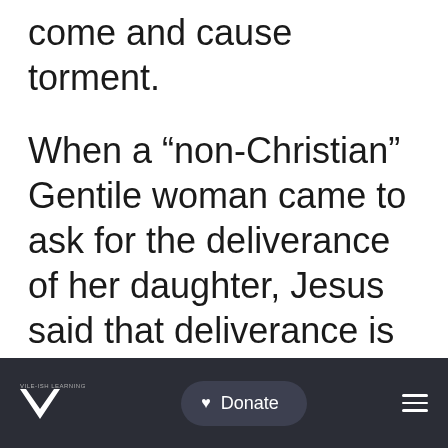come and cause torment.
When a “non-Christian” Gentile woman came to ask for the deliverance of her daughter, Jesus said that deliverance is as children’s bread (Matthew 15:26). Even when Jesus addressed the Jews who believed Him, Jesus said to abide in His word (often
Donate